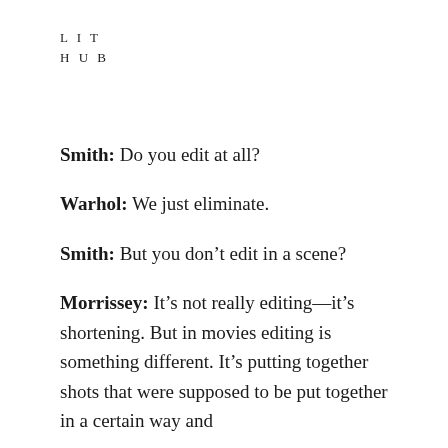LIT
HUB
Smith: Do you edit at all?
Warhol: We just eliminate.
Smith: But you don't edit in a scene?
Morrissey: It's not really editing—it's shortening. But in movies editing is something different. It's putting together shots that were supposed to be put together in a certain way and